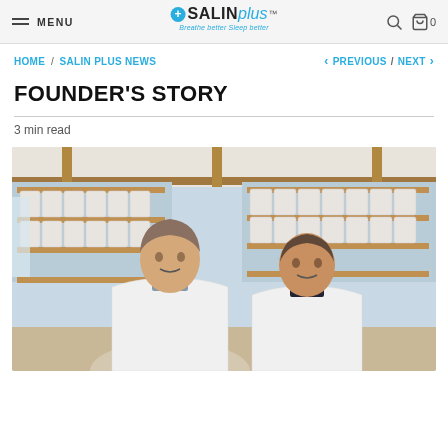MENU | SALINplus Breathe better Sleep better | search | cart 0
HOME / SALIN PLUS NEWS    < PREVIOUS / NEXT >
FOUNDER'S STORY
3 min read
[Figure (photo): Two men in white lab coats standing in front of shelves stocked with Salin Plus salt therapy filter units in a manufacturing or storage facility.]